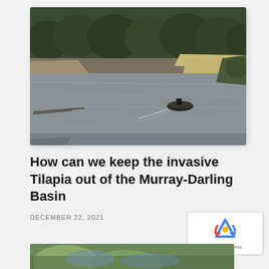[Figure (photo): A small boat with a person on a wide river, with sandy banks and eucalyptus trees in the background. The scene is calm, the boat leaving a small wake on the grey water.]
How can we keep the invasive Tilapia out of the Murray-Darling Basin
DECEMBER 22, 2021
[Figure (photo): Partial view of another image at the bottom of the page — appears to show fish or aquatic subject, only partially visible.]